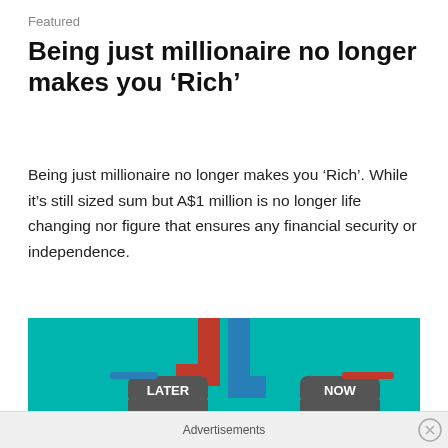Featured
Being just millionaire no longer makes you ‘Rich’
Being just millionaire no longer makes you ‘Rich’. While it’s still sized sum but A$1 million is no longer life changing nor figure that ensures any financial security or independence.
[Figure (infographic): Infographic on teal/green background showing two plumbing pipe taps labelled LATER (left, open, with red and blue pipes feeding into it) and NOW (right, closed), with text WHICH ONE YOU PREFER!! and gold dollar coins at the bottom.]
Advertisements